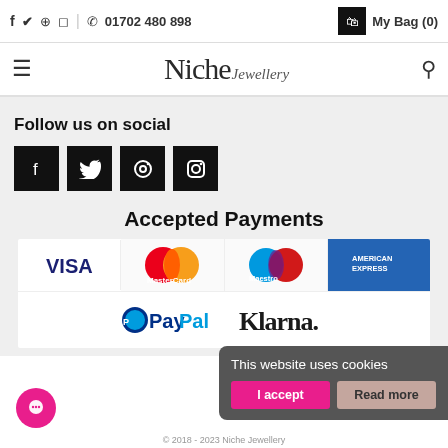f  ✓  ⊕  ◎  |  ☎  01702 480 898   My Bag (0)
[Figure (logo): Niche Jewellery logo with hamburger menu and search icon]
Follow us on social
[Figure (infographic): Four black social media icon buttons: Facebook, Twitter, Pinterest, Instagram]
Accepted Payments
[Figure (infographic): Accepted payment logos: Visa, MasterCard, Maestro, American Express, PayPal, Klarna]
This website uses cookies
I accept   Read more